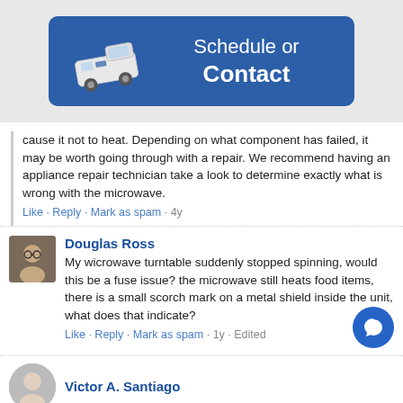[Figure (illustration): Blue rounded rectangle button with a white van/truck illustration on the left and white text reading 'Schedule or Contact' on the right]
cause it not to heat. Depending on what component has failed, it may be worth going through with a repair. We recommend having an appliance repair technician take a look to determine exactly what is wrong with the microwave.
Like · Reply · Mark as spam · 4y
Douglas Ross
My wicrowave turntable suddenly stopped spinning, would this be a fuse issue? the microwave still heats food items, there is a small scorch mark on a metal shield inside the unit, what does that indicate?
Like · Reply · Mark as spam · 1y · Edited
Victor A. Santiago